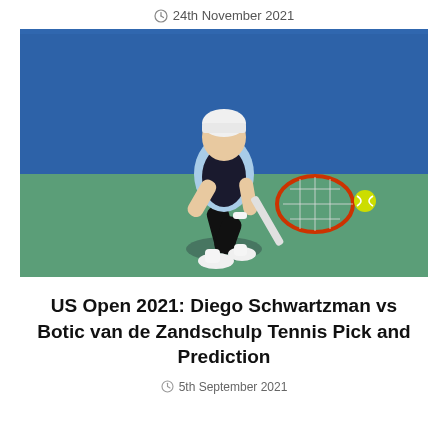24th November 2021
[Figure (photo): Tennis player (Diego Schwartzman) in a crouch hitting a backhand shot with a red racket on an outdoor hard court with blue walls in the background]
US Open 2021: Diego Schwartzman vs Botic van de Zandschulp Tennis Pick and Prediction
5th September 2021